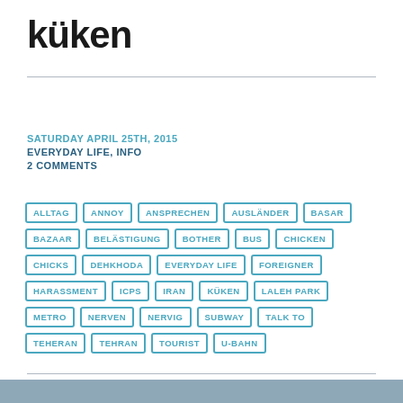küken
SATURDAY APRIL 25TH, 2015
EVERYDAY LIFE, INFO
2 COMMENTS
ALLTAG
ANNOY
ANSPRECHEN
AUSLÄNDER
BASAR
BAZAAR
BELÄSTIGUNG
BOTHER
BUS
CHICKEN
CHICKS
DEHKHODA
EVERYDAY LIFE
FOREIGNER
HARASSMENT
ICPS
IRAN
KÜKEN
LALEH PARK
METRO
NERVEN
NERVIG
SUBWAY
TALK TO
TEHERAN
TEHRAN
TOURIST
U-BAHN